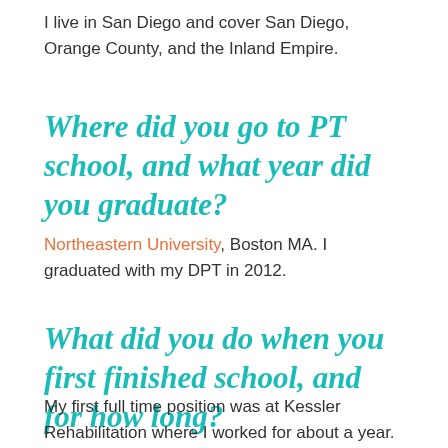I live in San Diego and cover San Diego, Orange County, and the Inland Empire.
Where did you go to PT school, and what year did you graduate?
Northeastern University, Boston MA. I graduated with my DPT in 2012.
What did you do when you first finished school, and for how long?
My first full time position was at Kessler Rehabilitation where I worked for about a year. I worked on the stroke/amputee unit.